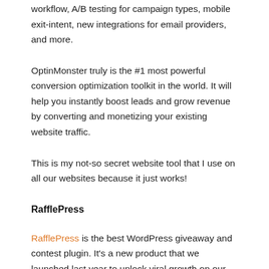workflow, A/B testing for campaign types, mobile exit-intent, new integrations for email providers, and more.
OptinMonster truly is the #1 most powerful conversion optimization toolkit in the world. It will help you instantly boost leads and grow revenue by converting and monetizing your existing website traffic.
This is my not-so secret website tool that I use on all our websites because it just works!
RafflePress
RafflePress is the best WordPress giveaway and contest plugin. It's a new product that we launched last year to unlock viral growth on our sites.